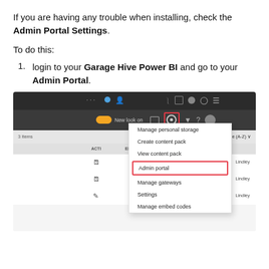If you are having any trouble when installing, check the Admin Portal Settings.
To do this:
login to your Garage Hive Power BI and go to your Admin Portal.
[Figure (screenshot): Screenshot of Power BI Admin Portal dropdown menu showing options: Manage personal storage, Create content pack, View content pack, Admin portal (highlighted in red box), Manage gateways, Settings, Manage embed codes. The settings gear icon is highlighted with a red box in the top navigation bar.]